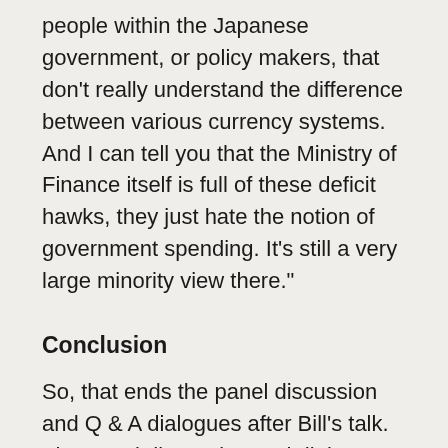people within the Japanese government, or policy makers, that don't really understand the difference between various currency systems. And I can tell you that the Ministry of Finance itself is full of these deficit hawks, they just hate the notion of government spending. It's still a very large minority view there."
Conclusion
So, that ends the panel discussion and Q & A dialogues after Bill's talk. The panel discussion and dialogue didn't devote much attention to Bill Mitchell's analysis of solvency, which everyone seemed easily to accept. But a number of issues were highlighted as the focus of debate. The first issue was inflation. People seemed to realize very quickly that with solvency out of the way, fiscal sustainability issues were critically connected to whether excessive spending could cause inflation. Other